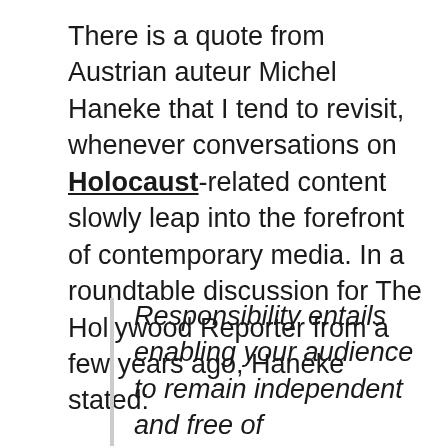There is a quote from Austrian auteur Michel Haneke that I tend to revisit, whenever conversations on Holocaust-related content slowly leap into the forefront of contemporary media. In a roundtable discussion for The Hollywood Reporter from a few years ago, Haneke stated:
Responsibility entails enabling your audience to remain independent and free of manipulation. The question is how seriously do I take my viewer, and to what extent do I